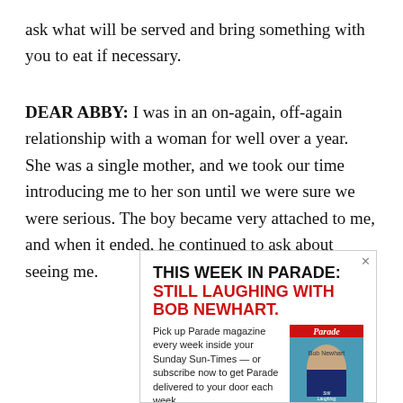ask what will be served and bring something with you to eat if necessary.
DEAR ABBY: I was in an on-again, off-again relationship with a woman for well over a year. She was a single mother, and we took our time introducing me to her son until we were sure we were serious. The boy became very attached to me, and when it ended, he continued to ask about seeing me.
[Figure (illustration): Advertisement for Parade magazine reading 'THIS WEEK IN PARADE: STILL LAUGHING WITH BOB NEWHART.' with an image of the Parade magazine cover featuring Bob Newhart. Body text reads: 'Pick up Parade magazine every week inside your Sunday Sun-Times — or subscribe now to get Parade delivered to...']